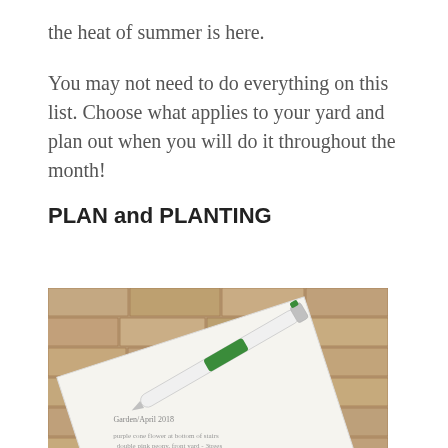the heat of summer is here.
You may not need to do everything on this list. Choose what applies to your yard and plan out when you will do it throughout the month!
PLAN and PLANTING
[Figure (photo): A photo of a handwritten garden planning note on paper with a green and white pen resting on top, placed on a brick surface. The note reads 'Garden/April 2018' and includes handwritten planting notes about purple cone flower, double pink peony, front yard, south fence, elizabetha rose, and neighbors.]